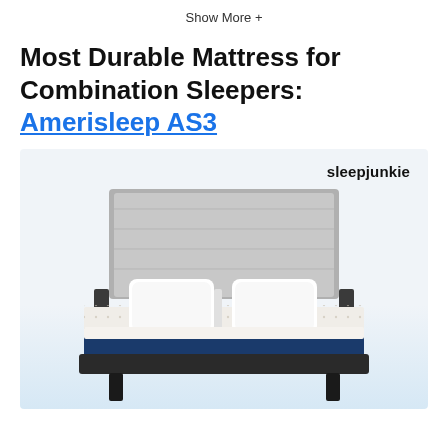Show More +
Most Durable Mattress for Combination Sleepers: Amerisleep AS3
[Figure (photo): Photo of an Amerisleep AS3 mattress on a bed frame with grey upholstered headboard and two white pillows, blue and white mattress visible, on a light blue background. Watermark reads 'sleepjunkie'.]